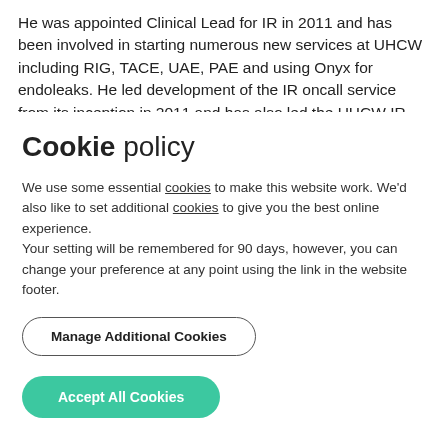He was appointed Clinical Lead for IR in 2011 and has been involved in starting numerous new services at UHCW including RIG, TACE, UAE, PAE and using Onyx for endoleaks. He led development of the IR oncall service from its inception in 2011 and has also led the UHCW IR group through its reorganisation, business cases
Cookie policy
We use some essential cookies to make this website work. We'd also like to set additional cookies to give you the best online experience.
Your setting will be remembered for 90 days, however, you can change your preference at any point using the link in the website footer.
Manage Additional Cookies
Accept All Cookies